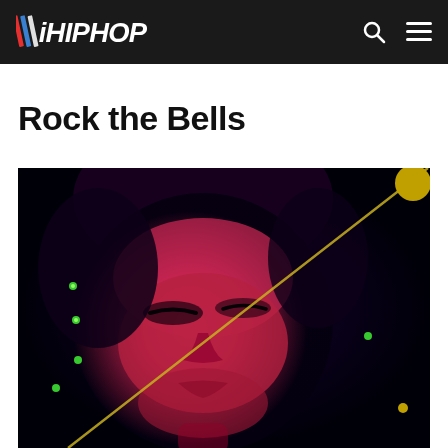iHIPHOP
Rock the Bells
[Figure (photo): Close-up artistic photo of a person's face bathed in deep red/magenta light against a dark background with small colored dots, with a diagonal gold/yellow line across the image]